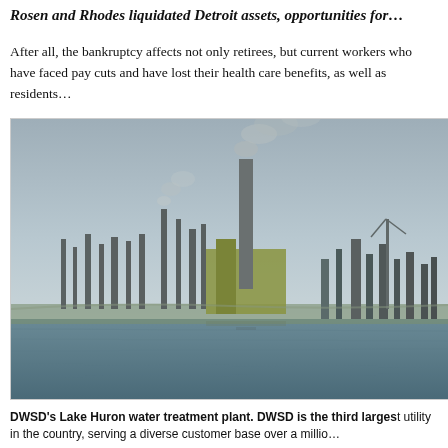Rosen and Rhodes liquidated Detroit assets, opportunities for…
After all, the bankruptcy affects not only retirees, but current workers who have faced pay cuts and have lost their health care benefits, as well as residents…
[Figure (photo): Industrial waterfront scene showing the DWSD Lake Huron water treatment plant with multiple smokestacks emitting smoke, photographed from across the water under an overcast sky.]
DWSD's Lake Huron water treatment plant. DWSD is the third largest utility in the country, serving a diverse customer base over a million…